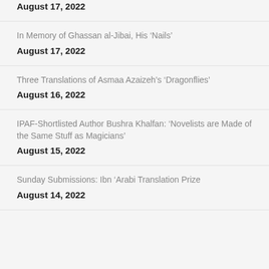August 17, 2022
In Memory of Ghassan al-Jibai, His ‘Nails’
August 17, 2022
Three Translations of Asmaa Azaizeh’s ‘Dragonflies’
August 16, 2022
IPAF-Shortlisted Author Bushra Khalfan: ‘Novelists are Made of the Same Stuff as Magicians’
August 15, 2022
Sunday Submissions: Ibn ‘Arabi Translation Prize
August 14, 2022